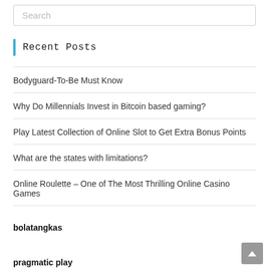Search
Recent Posts
Bodyguard-To-Be Must Know
Why Do Millennials Invest in Bitcoin based gaming?
Play Latest Collection of Online Slot to Get Extra Bonus Points
What are the states with limitations?
Online Roulette – One of The Most Thrilling Online Casino Games
bolatangkas
pragmatic play